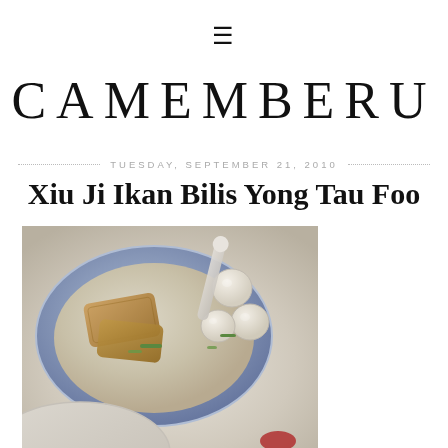☰
CAMEMBERU
TUESDAY, SEPTEMBER 21, 2010
Xiu Ji Ikan Bilis Yong Tau Foo
[Figure (photo): A blue bowl filled with soup, containing fried tofu pieces, fish balls, and green onion garnish. A white spoon rests in the bowl. A second bowl is partially visible at the bottom.]